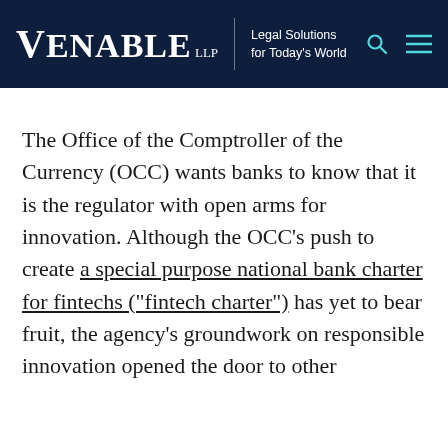VENABLE LLP | Legal Solutions for Today's World
The Office of the Comptroller of the Currency (OCC) wants banks to know that it is the regulator with open arms for innovation. Although the OCC's push to create a special purpose national bank charter for fintechs ("fintech charter") has yet to bear fruit, the agency's groundwork on responsible innovation opened the door to other